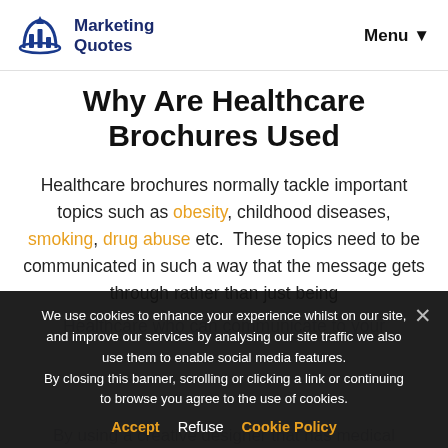Marketing Quotes | Menu
Why Are Healthcare Brochures Used
Healthcare brochures normally tackle important topics such as obesity, childhood diseases, smoking, drug abuse etc. These topics need to be communicated in such a way that the message gets through rather than just being
We use cookies to enhance your experience whilst on our site, and improve our services by analysing our site traffic we also use them to enable social media features. By closing this banner, scrolling or clicking a link or continuing to browse you agree to the use of cookies.
Accept | Refuse | Cookie Policy
By using a creative designer that has medical